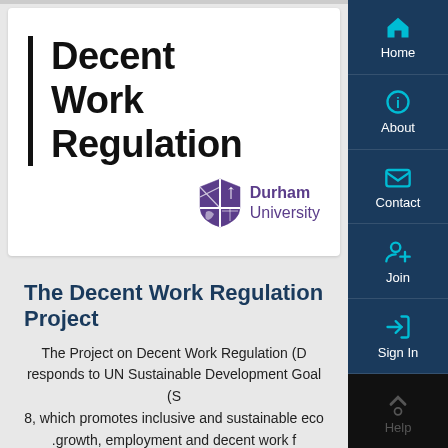[Figure (logo): Decent Work Regulation project logo with vertical black bar and 'Decent Work Regulation' bold text, alongside Durham University crest and name]
The Decent Work Regulation Project
The Project on Decent Work Regulation (D...) responds to UN Sustainable Development Goal (S...) 8, which promotes inclusive and sustainable eco... growth, employment and decent work f...